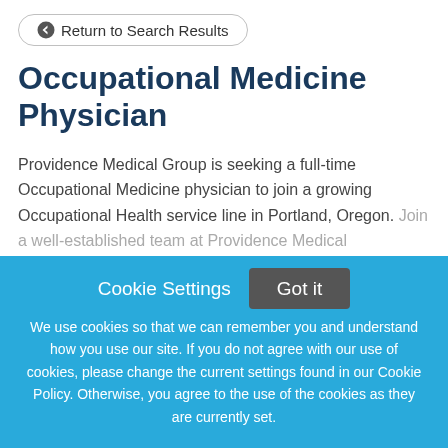Return to Search Results
Occupational Medicine Physician
Providence Medical Group is seeking a full-time Occupational Medicine physician to join a growing Occupational Health service line in Portland, Oregon. Join a well-established team at Providence Medical
This job listing is no longer active.
Cookie Settings
Got it
We use cookies so that we can remember you and understand how you use our site. If you do not agree with our use of cookies, please change the current settings found in our Cookie Policy. Otherwise, you agree to the use of the cookies as they are currently set.